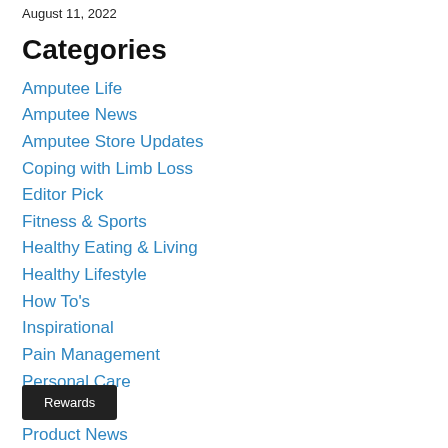August 11, 2022
Categories
Amputee Life
Amputee News
Amputee Store Updates
Coping with Limb Loss
Editor Pick
Fitness & Sports
Healthy Eating & Living
Healthy Lifestyle
How To's
Inspirational
Pain Management
Personal Care
Prevention
Product News
Prosthetics Insurance
Rewards